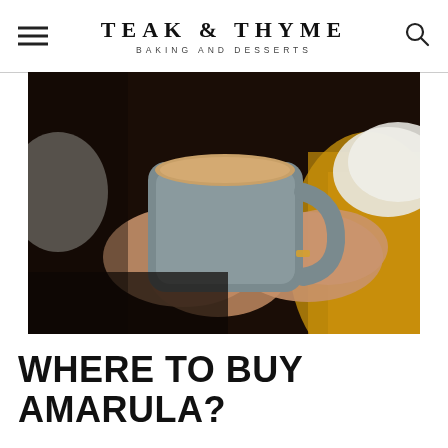TEAK & THYME — BAKING AND DESSERTS
[Figure (photo): Close-up photograph of two hands holding a large grey ceramic mug filled with a light brown coffee or latte drink. The person is wearing a white knit sweater and a gold ring. Background shows golden/mustard yellow fabric on the right and dark tones on the left.]
WHERE TO BUY AMARULA?